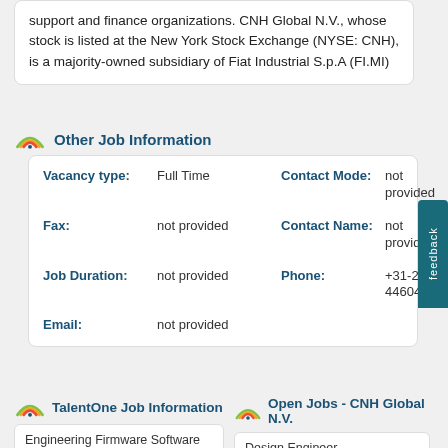support and finance organizations. CNH Global N.V., whose stock is listed at the New York Stock Exchange (NYSE: CNH), is a majority-owned subsidiary of Fiat Industrial S.p.A (FI.MI)
Other Job Information
| Field | Value | Field | Value |
| --- | --- | --- | --- |
| Vacancy type: | Full Time | Contact Mode: | not provided |
| Fax: | not provided | Contact Name: | not provided |
| Job Duration: | not provided | Phone: | +31-20-4460429 |
| Email: | not provided |  |  |
TalentOne Job Information
Open Jobs - CNH Global N.V.
Engineering Firmware Software Engineer
Design Engineer Design Engineer